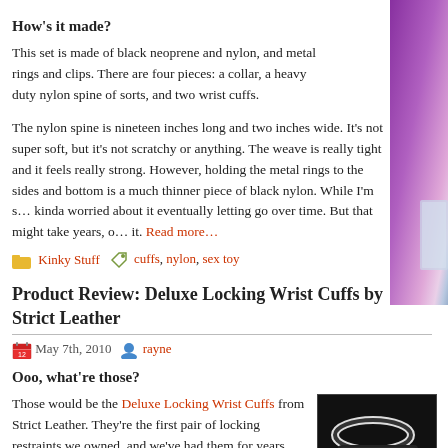How's it made?
This set is made of black neoprene and nylon, and metal rings and clips.  There are four pieces: a collar, a heavy duty nylon spine of sorts, and two wrist cuffs.
The nylon spine is nineteen inches long and two inches wide.  It's not super soft, but it's not scratchy or anything.  The weave is really tight and it feels really strong.  However, holding the metal rings to the sides and bottom is a much thinner piece of black nylon.  While I'm s… kinda worried about it eventually letting go over time.  But that might take years, o… it.  Read more…
Kinky Stuff    cuffs, nylon, sex toy
Product Review: Deluxe Locking Wrist Cuffs by Strict Leather
May 7th, 2010   rayne
Ooo, what're those?
Those would be the Deluxe Locking Wrist Cuffs from Strict Leather.  They're the first pair of locking restraints we owned, and we've had them for years.
How're they made?
The cuffs are eight and three-quarters inches long, two inches wide, and about a tenth of an inch thick.  They're made of at least…
[Figure (photo): Partial image on right side showing purple/violet colored product]
[Figure (photo): Close-up photo of black leather cuff with metal ring]